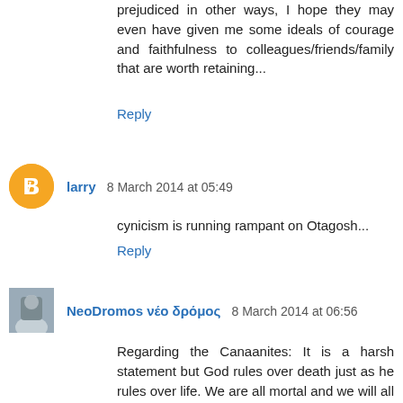prejudiced in other ways, I hope they may even have given me some ideals of courage and faithfulness to colleagues/friends/family that are worth retaining...
Reply
larry  8 March 2014 at 05:49
cynicism is running rampant on Otagosh...
Reply
NeoDromos νέο δρόμος  8 March 2014 at 06:56
Regarding the Canaanites: It is a harsh statement but God rules over death just as he rules over life. We are all mortal and we will all die. God could keep us alive in our mortal condition ad infinitum if he wished but he is going to cause us to die. Death is his responsibility. In the bible, sometimes people were directly killed by God. In other cases, people were killed by one of God's "authorized agents." In any event, the audit trail ultimately runs back to God. Knowing that it is God's determination doesn't make it any more